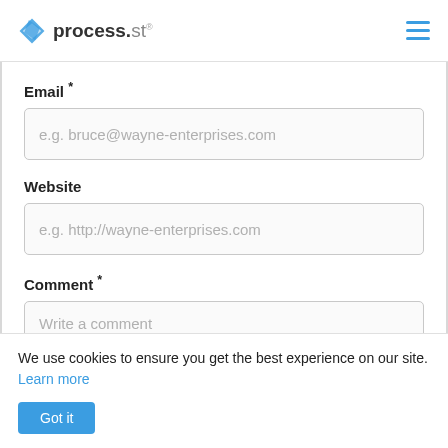process.st
Email *
e.g. bruce@wayne-enterprises.com
Website
e.g. http://wayne-enterprises.com
Comment *
Write a comment
We use cookies to ensure you get the best experience on our site. Learn more
Got it